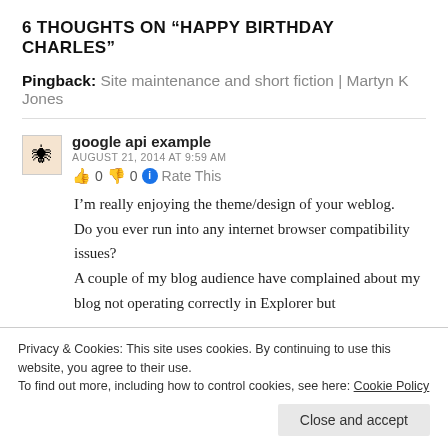6 THOUGHTS ON “HAPPY BIRTHDAY CHARLES”
Pingback: Site maintenance and short fiction | Martyn K Jones
google api example
AUGUST 21, 2014 AT 9:59 AM
👍 0 👎 0 ℹ Rate This
I’m really enjoying the theme/design of your weblog. Do you ever run into any internet browser compatibility issues?
A couple of my blog audience have complained about my blog not operating correctly in Explorer but
Privacy & Cookies: This site uses cookies. By continuing to use this website, you agree to their use.
To find out more, including how to control cookies, see here: Cookie Policy
Close and accept